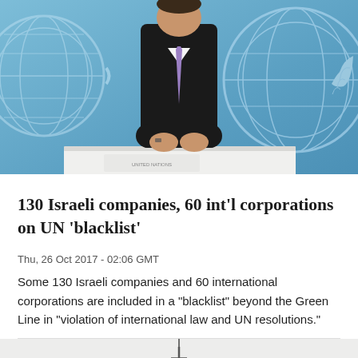[Figure (photo): Man in dark suit with purple tie standing in front of UN (United Nations) blue backdrop with UN emblem/logo, at a press conference table]
130 Israeli companies, 60 int'l corporations on UN 'blacklist'
Thu, 26 Oct 2017 - 02:06 GMT
Some 130 Israeli companies and 60 international corporations are included in a "blacklist" beyond the Green Line in "violation of international law and UN resolutions."
[Figure (photo): Bottom of page showing a communication tower/antenna structure against a light sky background]